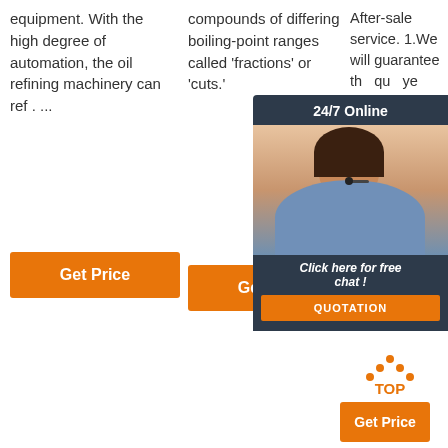equipment. With the high degree of automation, the oil refining machinery can ref . ...
[Figure (other): Orange 'Get Price' button, column 1]
compounds of differing boiling-point ranges called 'fractions' or 'cuts.'
[Figure (other): Orange 'Get Price' button, column 2]
After-sale service. 1.We will guarantee th... qu... ye... pr... tra... an... cu... qu... te...gy time.
[Figure (other): Chat popup overlay with '24/7 Online', woman with headset, 'Click here for free chat!', and QUOTATION button]
[Figure (other): TOP arrow widget and orange 'Get Price' button at bottom right]